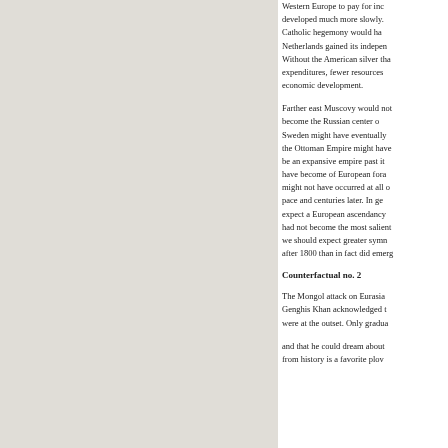Western Europe to pay for inc... developed much more slowly. Catholic hegemony would ha... Netherlands gained its indepen... Without the American silver tha... expenditures, fewer resources economic development.
Farther east Muscovy would not... become the Russian center o... Sweden might have eventually ... the Ottoman Empire might have... be an expansive empire past it... have become of European fora... might not have occurred at all o... pace and centuries later. In ge... expect a European ascendancy... had not become the most salient... we should expect greater symn... after 1800 than in fact did emerg...
Counterfactual no. 2
The Mongol attack on Eurasia... Genghis Khan acknowledged t... were at the outset. Only gradua...
and that he could dream about... from history is a favorite plov...